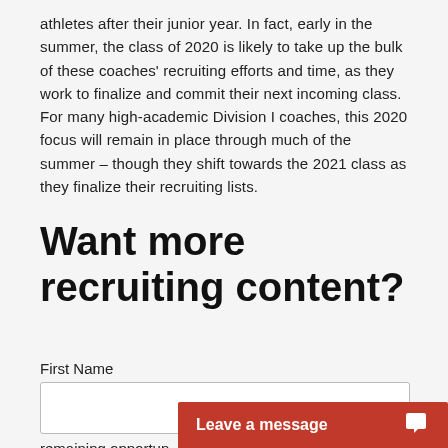athletes after their junior year. In fact, early in the summer, the class of 2020 is likely to take up the bulk of these coaches' recruiting efforts and time, as they work to finalize and commit their next incoming class. For many high-academic Division I coaches, this 2020 focus will remain in place through much of the summer – though they shift towards the 2021 class as they finalize their recruiting lists.
Want more recruiting content?
First Name
remaining opportun…
Leave a message